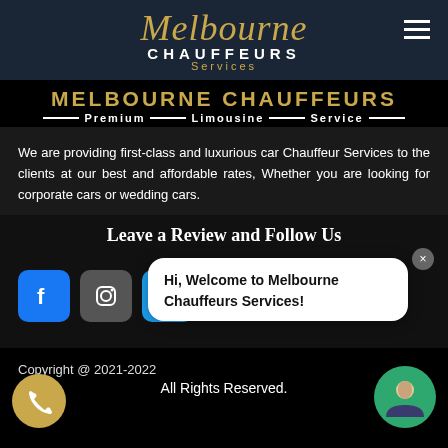[Figure (logo): Melbourne Chauffeurs Services logo with gold script and navigation bar with hamburger menu]
MELBOURNE CHAUFFEURS — Premium — Limousine — Service —
We are providing first-class and luxurious car Chauffeur Services to the clients at our best and affordable rates, Whether you are looking for corporate cars or wedding cars.
Leave a Review and Follow Us
[Figure (infographic): Social media icons: Facebook, Instagram, Twitter, with chat bubble popup saying Hi, Welcome to Melbourne Chauffeurs Services! and a close button]
Copyright @ 2021-2022 All Rights Reserved.